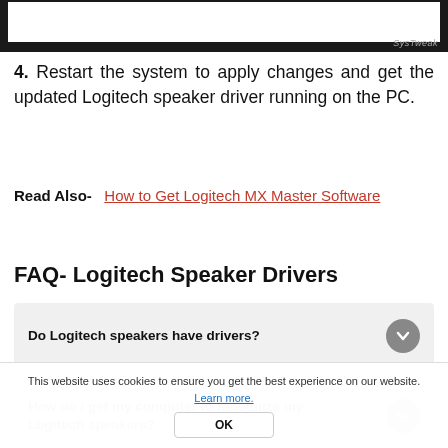[Figure (screenshot): Dark top bar with white content area and SysTweak watermark in bottom-right corner]
4. Restart the system to apply changes and get the updated Logitech speaker driver running on the PC.
Read Also- How to Get Logitech MX Master Software
FAQ- Logitech Speaker Drivers
Do Logitech speakers have drivers?
How do I get my computer to recognize my Logitech speakers?
This website uses cookies to ensure you get the best experience on our website. Learn more. OK